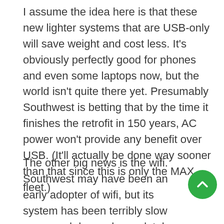I assume the idea here is that these new lighter systems that are USB-only will save weight and cost less. It's obviously perfectly good for phones and even some laptops now, but the world isn't quite there yet. Presumably Southwest is betting that by the time it finishes the retrofit in 150 years, AC power won't provide any benefit over USB. (It'll actually be done way sooner than that since this is only the MAX fleet.)
The other big news is the wifi. Southwest may have been an early adopter of wifi, but its system has been terribly slow on a good day and completely non-functioning on a more normal day. Yeah, yeah, it varies depending upon how many people are using the system and all that, but in a day and age where I can fly Spirit and have fast wifi or pay a bit more for full streaming